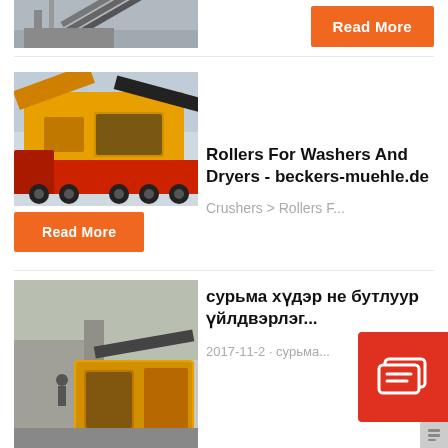[Figure (photo): Conveyor belt structure on industrial building, top-cropped image]
Read More
[Figure (photo): Large yellow mobile crusher/screener on red semi-truck trailer]
Rollers For Washers And Dryers - beckers-muehle.de
Crushers > Rollers F...
Read More
[Figure (photo): Yellow industrial crusher/impact machine at construction site]
сурьма хүдэр не бутлуур үйлдвэрлэг...
2017-11-2 · сурьма...